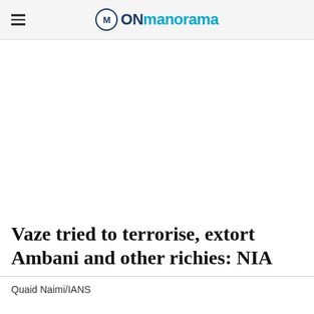ONmanorama
Vaze tried to terrorise, extort Ambani and other richies: NIA
Quaid Naimi/IANS